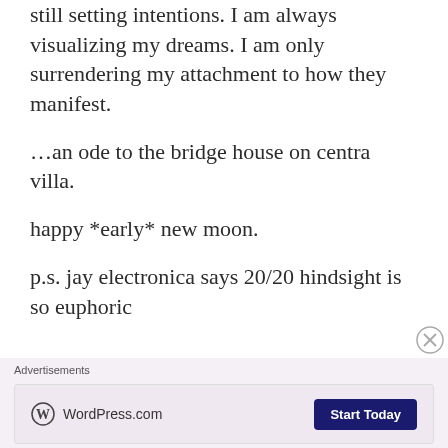still setting intentions. I am always visualizing my dreams. I am only surrendering my attachment to how they manifest.
…an ode to the bridge house on centra villa.
happy *early* new moon.
p.s. jay electronica says 20/20 hindsight is so euphoric
Advertisements
[Figure (screenshot): WordPress.com advertisement banner with logo and 'Start Today' button]